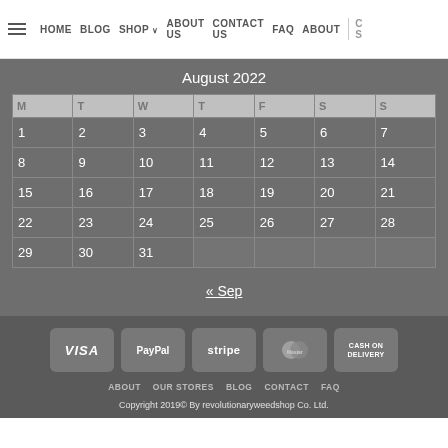HOME  BLOG  SHOP  ABOUT US  CONTACT US  FAQ  About
August 2022
| M | T | W | T | F | S | S |
| --- | --- | --- | --- | --- | --- | --- |
| 1 | 2 | 3 | 4 | 5 | 6 | 7 |
| 8 | 9 | 10 | 11 | 12 | 13 | 14 |
| 15 | 16 | 17 | 18 | 19 | 20 | 21 |
| 22 | 23 | 24 | 25 | 26 | 27 | 28 |
| 29 | 30 | 31 |  |  |  |  |
« Sep
[Figure (other): Payment method logos: VISA, PayPal, stripe, MasterCard, CASH ON DELIVERY]
ABOUT  OUR STORES  BLOG  CONTACT  FAQ
Copyright 2019© By revolutionaryweedshop Co. Ltd.